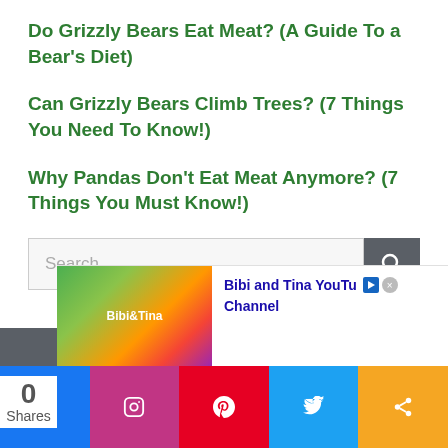Do Grizzly Bears Eat Meat? (A Guide To a Bear's Diet)
Can Grizzly Bears Climb Trees? (7 Things You Need To Know!)
Why Pandas Don't Eat Meat Anymore? (7 Things You Must Know!)
[Figure (screenshot): Search bar with text 'Search ...' and a dark grey search button with magnifying glass icon]
© 2022 BestofPanda • Built with GeneratePress
[Figure (other): Advertisement for Bibi and Tina YouTube Channel with cartoon image and link]
[Figure (infographic): Social share bar with Facebook, Instagram, Pinterest, Twitter, and share buttons. 0 Shares displayed.]